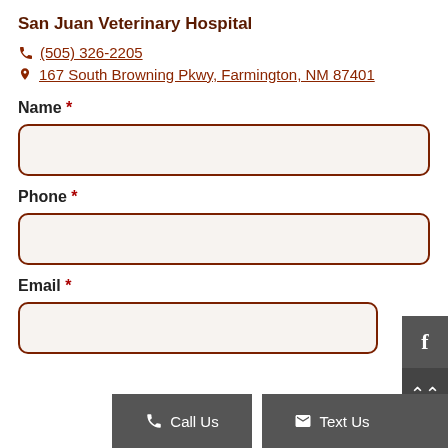San Juan Veterinary Hospital
(505) 326-2205
167 South Browning Pkwy, Farmington, NM 87401
Name *
Phone *
Email *
Message